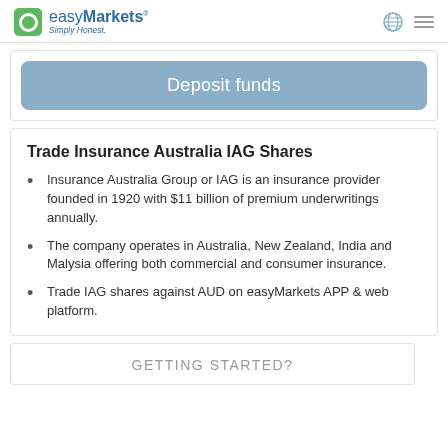easyMarkets Simply Honest.
Deposit funds
Trade Insurance Australia IAG Shares
Insurance Australia Group or IAG is an insurance provider founded in 1920 with $11 billion of premium underwritings annually.
The company operates in Australia, New Zealand, India and Malysia offering both commercial and consumer insurance.
Trade IAG shares against AUD on easyMarkets APP & web platform.
GETTING STARTED?